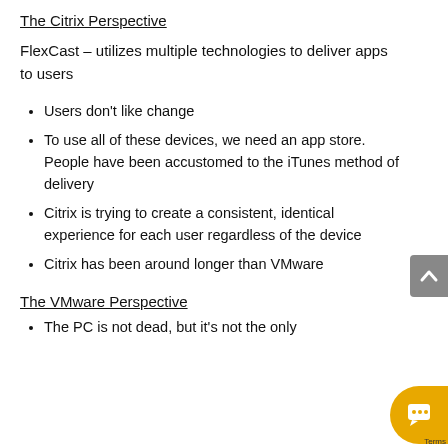The Citrix Perspective
FlexCast – utilizes multiple technologies to deliver apps to users
Users don't like change
To use all of these devices, we need an app store. People have been accustomed to the iTunes method of delivery
Citrix is trying to create a consistent, identical experience for each user regardless of the device
Citrix has been around longer than VMware
The VMware Perspective
The PC is not dead, but it's not the only